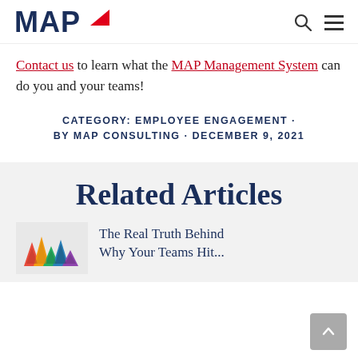MAP
Contact us to learn what the MAP Management System can do you and your teams!
CATEGORY: EMPLOYEE ENGAGEMENT · BY MAP CONSULTING · DECEMBER 9, 2021
Related Articles
The Real Truth Behind Why Your Teams Hit...